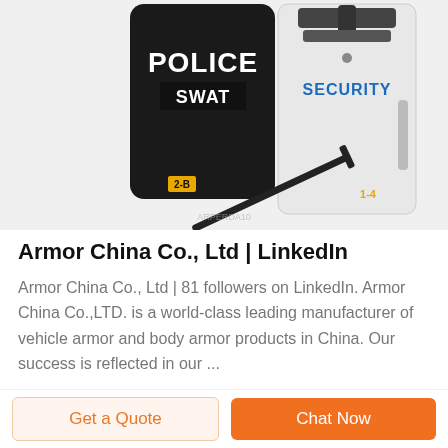[Figure (photo): Product image showing two ballistic shields — a black POLICE SWAT shield and a clear SECURITY riot shield — plus a police baton on a white/light grey background. Watermark text partially visible near bottom.]
Armor China Co., Ltd | LinkedIn
Armor China Co., Ltd | 81 followers on LinkedIn. Armor China Co.,LTD. is a world-class leading manufacturer of vehicle armor and body armor products in China. Our success is reflected in our ...
Get a Quote
Chat Now